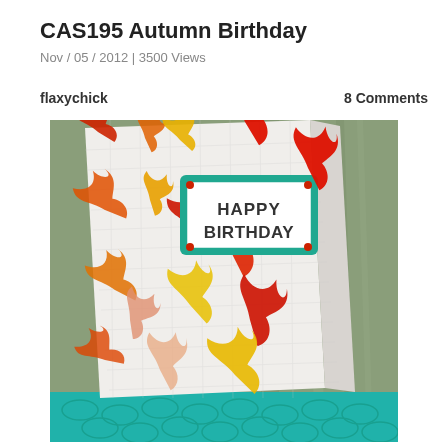CAS195 Autumn Birthday
Nov / 05 / 2012 | 3500 Views
flaxychick
8 Comments
[Figure (photo): A handmade greeting card standing upright on a teal patterned surface. The card features a white textured/embossed background with autumn maple leaves in red, orange, and yellow scattered across it. In the upper right area of the card is a teal-bordered rectangle label reading HAPPY BIRTHDAY in dark text. The background behind the card shows a green-grey curtain or fabric.]